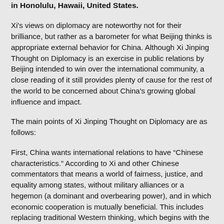in Honolulu, Hawaii, United States.
Xi's views on diplomacy are noteworthy not for their brilliance, but rather as a barometer for what Beijing thinks is appropriate external behavior for China. Although Xi Jinping Thought on Diplomacy is an exercise in public relations by Beijing intended to win over the international community, a close reading of it still provides plenty of cause for the rest of the world to be concerned about China's growing global influence and impact.
The main points of Xi Jinping Thought on Diplomacy are as follows:
First, China wants international relations to have “Chinese characteristics.” According to Xi and other Chinese commentators that means a world of fairness, justice, and equality among states, without military alliances or a hegemon (a dominant and overbearing power), and in which economic cooperation is mutually beneficial. This includes replacing traditional Western thinking, which begins with the premise of anarchy and justifies realpolitik, exploitation by great powers, and seeing relationships as a zero-sum competition.
Second, China should have more of a leadership role (and the United States less) in international affairs, both to make the international system